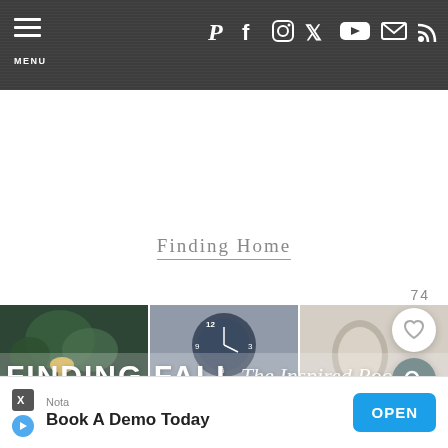MENU | Social icons: Pinterest, Facebook, Instagram, Twitter, YouTube, Email, RSS
Finding Home
74
[Figure (photo): Collage of three interior home decor photos: left shows dark green plants and brass accents, center shows a clock and blue/floral pillow, right shows a vase/mirror arrangement. Text overlay reads 'FINDING FALL' and 'The Inspired Room'. UI buttons for heart/save and search visible.]
[Figure (screenshot): Ad banner at the bottom: Nota logo, 'Book A Demo Today', blue OPEN button, with AdChoices X and play icon logos.]